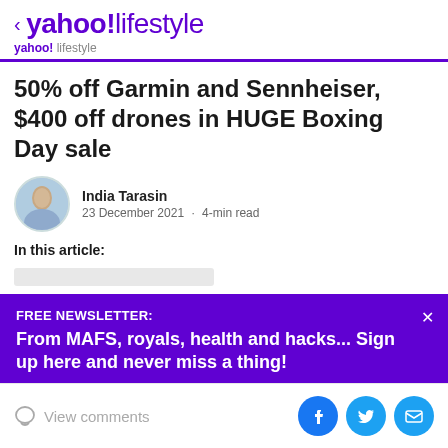< yahoo!lifestyle
50% off Garmin and Sennheiser, $400 off drones in HUGE Boxing Day sale
India Tarasin · 23 December 2021 · 4-min read
In this article:
FREE NEWSLETTER: From MAFS, royals, health and hacks... Sign up here and never miss a thing!
View comments